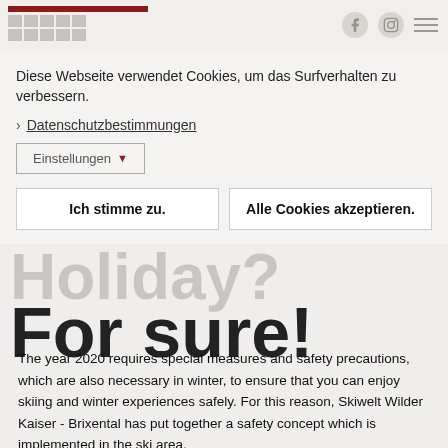Diese Webseite verwendet Cookies, um das Surfverhalten zu verbessern.
> Datenschutzbestimmungen
Einstellungen ▼
Ich stimme zu.
Alle Cookies akzeptieren.
Holiday?
For sure!
The year 2020 requires special measures and safety precautions, which are also necessary in winter, to ensure that you can enjoy skiing and winter experiences safely. For this reason, Skiwelt Wilder Kaiser - Brixental has put together a safety concept which is implemented in the ski area.